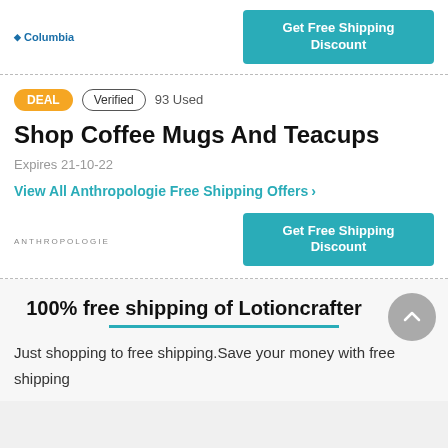[Figure (logo): Columbia brand logo with diamond icon]
Get Free Shipping Discount
DEAL  Verified  93 Used
Shop Coffee Mugs And Teacups
Expires 21-10-22
View All Anthropologie Free Shipping Offers >
[Figure (logo): Anthropologie brand logo text]
Get Free Shipping Discount
100% free shipping of Lotioncrafter
Just shopping to free shipping.Save your money with free shipping